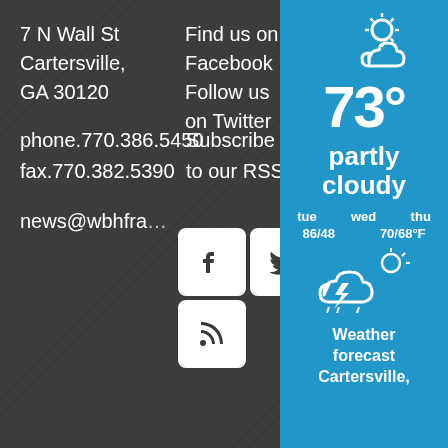7 N Wall St
Cartersville,
GA 30120
Find us on
Facebook
Follow us
on Twitter
phone.770.386.5450
fax.770.382.5390
Subscribe
to our RSS
news@wbhfra…
[Figure (infographic): Social media icon buttons: Facebook, Twitter, RSS feed]
[Figure (infographic): Weather widget showing partly cloudy, 73 degrees, with forecast for tue/wed/thu showing 86/48/70/68 degrees F and a storm cloud icon. Weather forecast for Cartersville.]